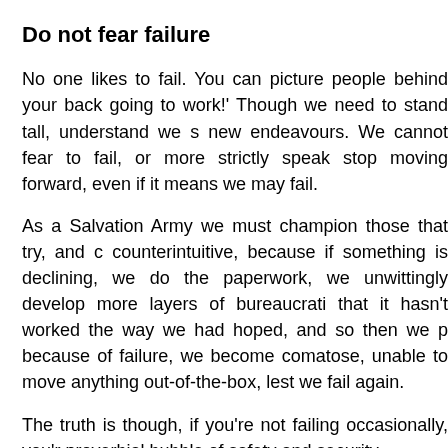Do not fear failure
No one likes to fail. You can picture people behind your back going to work!' Though we need to stand tall, understand we s new endeavours. We cannot fear to fail, or more strictly speak stop moving forward, even if it means we may fail.
As a Salvation Army we must champion those that try, and c counterintuitive, because if something is declining, we do the paperwork, we unwittingly develop more layers of bureaucrati that it hasn't worked the way we had hoped, and so then we p because of failure, we become comatose, unable to move anything out-of-the-box, lest we fail again.
The truth is though, if you're not failing occasionally, you'r proverbial bubble of safety and security.
The ingenuity came thick and fast in the early days of our mo being radical, different, passionate, sold-out for Jesus, a little e
Because that's the kind of God we worship.
I dream of a Salvation Army convinced of its calling. I drea religious and cultural popularity for the work of the Spirit. I dr